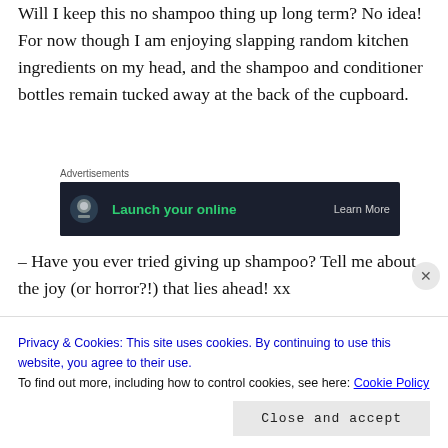Will I keep this no shampoo thing up long term? No idea! For now though I am enjoying slapping random kitchen ingredients on my head, and the shampoo and conditioner bottles remain tucked away at the back of the cupboard.
[Figure (other): Advertisement banner with dark background showing 'Launch your online' text in green and 'Learn More' call to action, with a logo icon on the left. Labeled 'Advertisements' above.]
– Have you ever tried giving up shampoo? Tell me about the joy (or horror?!) that lies ahead! xx
Privacy & Cookies: This site uses cookies. By continuing to use this website, you agree to their use.
To find out more, including how to control cookies, see here: Cookie Policy
Close and accept